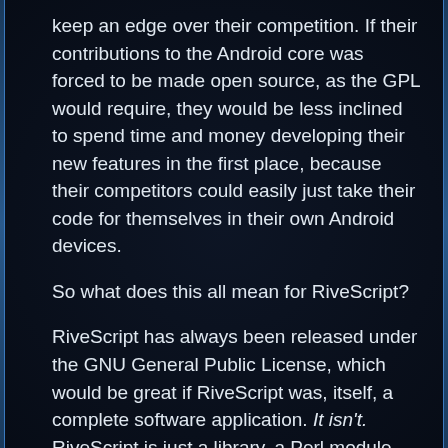keep an edge over their competition. If their contributions to the Android core was forced to be made open source, as the GPL would require, they would be less inclined to spend time and money developing their new features in the first place, because their competitors could easily just take their code for themselves in their own Android devices.
So what does this all mean for RiveScript?
RiveScript has always been released under the GNU General Public License, which would be great if RiveScript was, itself, a complete software application. It isn't. RiveScript is just a library, a Perl module, and it doesn't do anything until you write an actual Perl application that loads the module.
So if somebody wanted to create and sell a closed source "desktop assistant" type application, with a